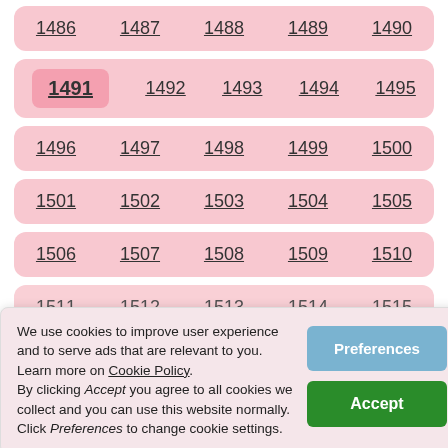| 1486 | 1487 | 1488 | 1489 | 1490 |
| --- | --- | --- | --- | --- |
| 1491 | 1492 | 1493 | 1494 | 1495 |
| --- | --- | --- | --- | --- |
| 1496 | 1497 | 1498 | 1499 | 1500 |
| --- | --- | --- | --- | --- |
| 1501 | 1502 | 1503 | 1504 | 1505 |
| --- | --- | --- | --- | --- |
| 1506 | 1507 | 1508 | 1509 | 1510 |
| --- | --- | --- | --- | --- |
| 1511 | 1512 | 1513 | 1514 | 1515 |
| --- | --- | --- | --- | --- |
We use cookies to improve user experience and to serve ads that are relevant to you. Learn more on Cookie Policy. By clicking Accept you agree to all cookies we collect and you can use this website normally. Click Preferences to change cookie settings.